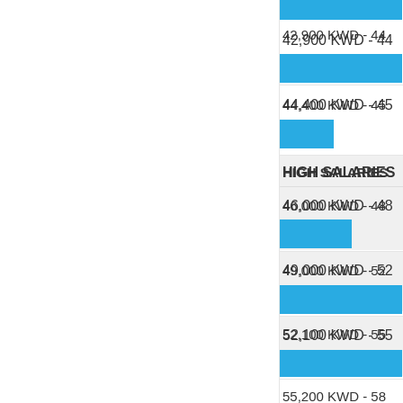[Figure (histogram): Salary Distribution (KWD)]